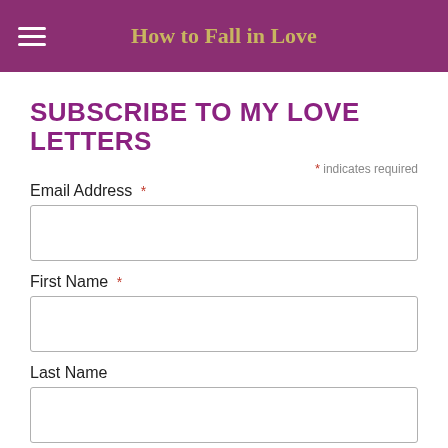How to Fall in Love
SUBSCRIBE TO MY LOVE LETTERS
* indicates required
Email Address *
First Name *
Last Name
Sign up and I'll send you Chapter 1 of How to Fall in Love. I will also send you infrequent 'love letters' with words of